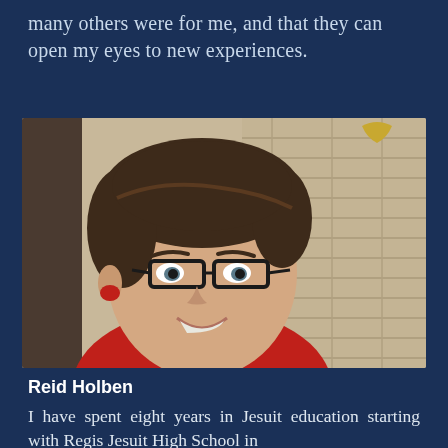many others were for me, and that they can open my eyes to new experiences.
[Figure (photo): Young man with brown hair and black-framed glasses smiling, photographed outdoors in front of a brick building]
Reid Holben
I have spent eight years in Jesuit education starting with Regis Jesuit High School in